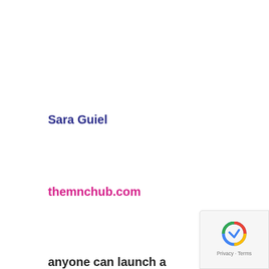Sara Guiel
themnchub.com
We use cookies on our website to give you the most relevant experience by remembering your preferences and repeat visits. By clicking “Accept”, you consent to the use of ALL the cookies.
Cookie settings
ACCEPT
anyone can launch a